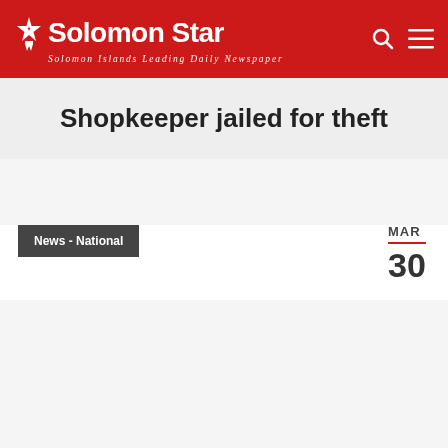Solomon Star — Solomon Islands Leading Daily Newspaper
Shopkeeper jailed for theft
News - National
MAR 30